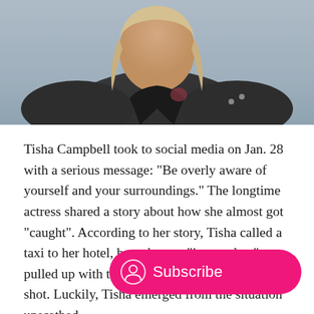[Figure (photo): Photo of Tisha Campbell, a woman in a dark leather jacket, cropped at the upper portion of the page.]
Tisha Campbell took to social media on Jan. 28 with a serious message: "Be overly aware of yourself and your surroundings." The longtime actress shared a story about how she almost got "caught". According to her story, Tisha called a taxi to her hotel, but when an "incomplete" van pulled up with two men in it, her guard was shot. Luckily, Tisha emerged from the situation unscathed.
Two days after Tisha shared her exp... Instagram, the Brownsville Police Department said it ...